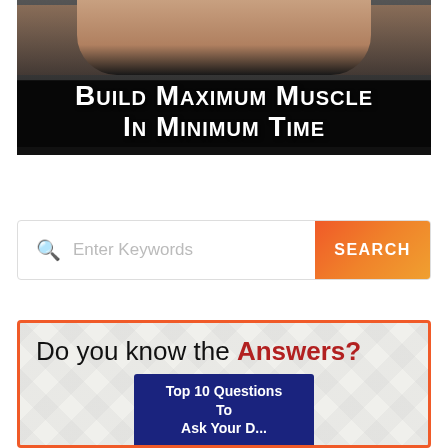[Figure (photo): Muscular person lifting weights with text overlay 'Build Maximum Muscle In Minimum Time' on a dark background]
[Figure (screenshot): Search bar with magnifying glass icon, placeholder text 'Enter Keywords' and an orange gradient SEARCH button]
[Figure (infographic): Advertisement banner with orange border and geometric pattern background reading 'Do you know the Answers? Top 10 Questions To Ask Your...']